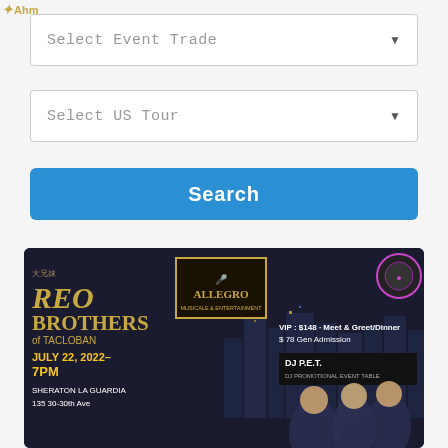[Figure (screenshot): Website UI showing two dropdown menus: 'Select Event Trade' and 'Select US Tour', and a blue Search button]
[Figure (photo): Event poster for REO Brothers of Tacloban, July 22, 2022, 7PM at Sheraton La Guardia. VIP: $148 Meet & Greet/Dinner, $78 Gen Admission. DJ P.E.T. DJ Promotional Event Table. Allegro Musicale & Entertainment logo. Three young men in suits with city skyline backdrop.]